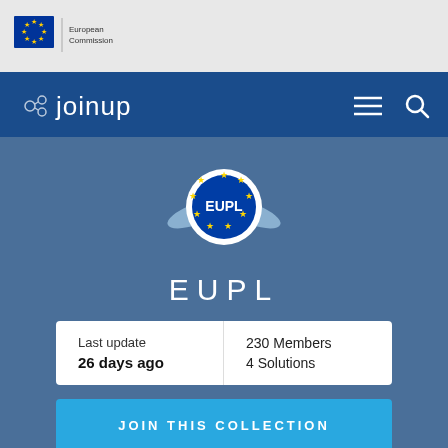[Figure (logo): European Commission logo with EU flag and text 'European Commission']
joinup
[Figure (logo): EUPL badge: blue circle with EU stars and 'EUPL' text, with ribbon]
EUPL
| Last update | 230 Members |
| 26 days ago | 4 Solutions |
JOIN THIS COLLECTION